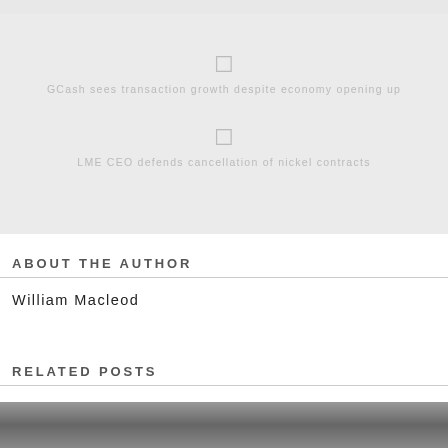[Figure (other): Top gray bar / partial image strip at very top of page]
GCash sees transaction growth despite economy opening up
LME CEO defends cancellation of nickel contracts
ABOUT THE AUTHOR
William Macleod
RELATED POSTS
[Figure (photo): Black and white photo strip at bottom of page]